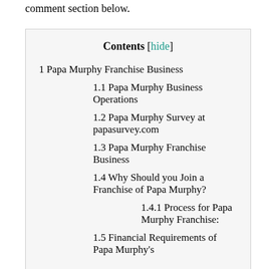comment section below.
Contents [hide]
1 Papa Murphy Franchise Business
1.1 Papa Murphy Business Operations
1.2 Papa Murphy Survey at papasurvey.com
1.3 Papa Murphy Franchise Business
1.4 Why Should you Join a Franchise of Papa Murphy?
1.4.1 Process for Papa Murphy Franchise:
1.5 Financial Requirements of Papa Murphy's